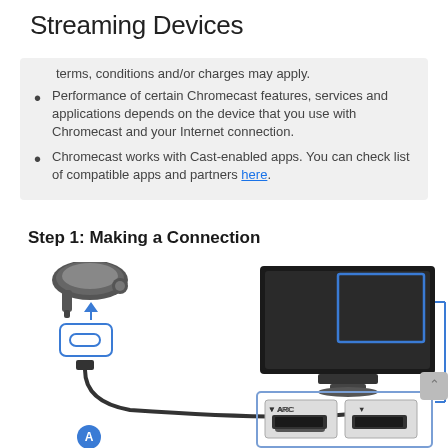Streaming Devices
terms, conditions and/or charges may apply.
Performance of certain Chromecast features, services and applications depends on the device that you use with Chromecast and your Internet connection.
Chromecast works with Cast-enabled apps. You can check list of compatible apps and partners here.
Step 1: Making a Connection
[Figure (illustration): Diagram showing a Chromecast device connected via HDMI cable to a TV's HDMI/ARC port. The Chromecast (labeled A) connects through a micro-USB to HDMI cable pointing upward to the Chromecast dongle, then another HDMI cable with a blue arrow pointing right to the HDMI ARC port on the back of a TV. The TV is shown from behind with a blue highlighted rectangle on its top-right corner indicating the Chromecast placement area. The HDMI ports panel (ARC and standard) is shown in a callout box.]